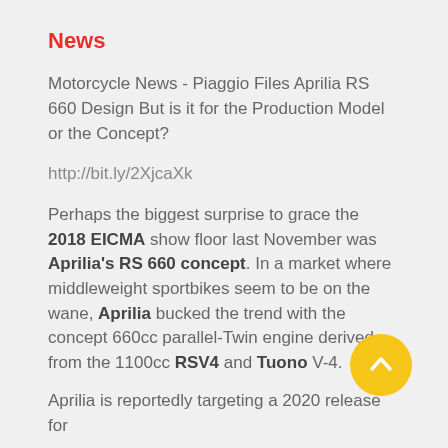News
Motorcycle News - Piaggio Files Aprilia RS 660 Design But is it for the Production Model or the Concept?
http://bit.ly/2XjcaXk
Perhaps the biggest surprise to grace the 2018 EICMA show floor last November was Aprilia's RS 660 concept. In a market where middleweight sportbikes seem to be on the wane, Aprilia bucked the trend with the concept 660cc parallel-Twin engine derived from the 1100cc RSV4 and Tuono V-4.
Aprilia is reportedly targeting a 2020 release for